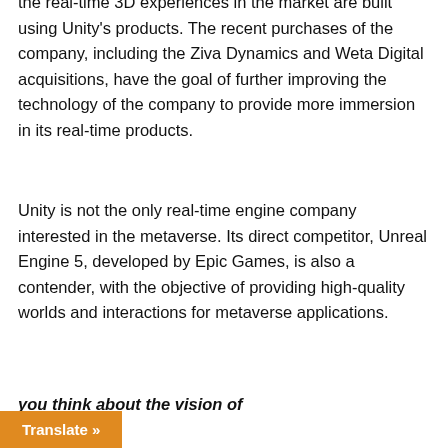the real-time 3D experiences in the market are built using Unity's products. The recent purchases of the company, including the Ziva Dynamics and Weta Digital acquisitions, have the goal of further improving the technology of the company to provide more immersion in its real-time products.
Unity is not the only real-time engine company interested in the metaverse. Its direct competitor, Unreal Engine 5, developed by Epic Games, is also a contender, with the objective of providing high-quality worlds and interactions for metaverse applications.
you think about the vision of
Translate »